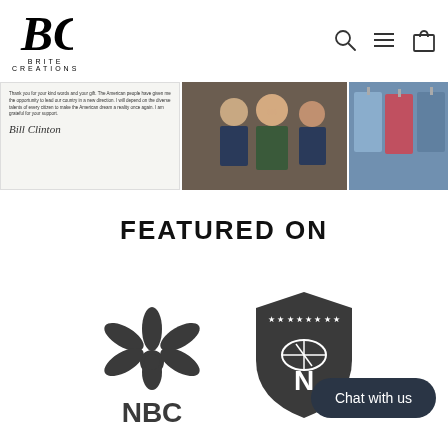[Figure (logo): Brite Creations logo with stylized BC monogram and text BRITE CREATIONS]
[Figure (other): Navigation icons: search magnifying glass, hamburger menu, shopping bag]
[Figure (photo): Letter with handwritten text and Bill Clinton signature]
[Figure (photo): Photo of Bill Clinton with group of men in suits]
[Figure (photo): Photo of shirts/jackets on display]
FEATURED ON
[Figure (logo): NBC peacock logo with NBC text below]
[Figure (logo): NFL shield logo]
Chat with us